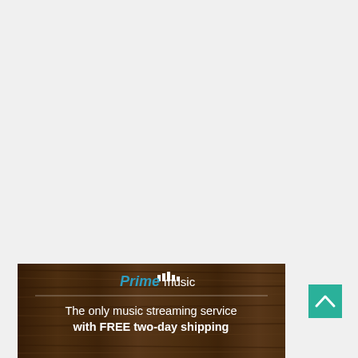[Figure (advertisement): Amazon Prime Music advertisement banner with dark wood texture background. Shows the Prime Music logo (Prime in blue italic, music in white with equalizer bars icon) with a thin horizontal divider, and tagline text 'The only music streaming service with FREE two-day shipping' in white.]
[Figure (other): Teal/green square scroll-to-top button with white upward-pointing chevron arrow in the bottom right area of the page.]